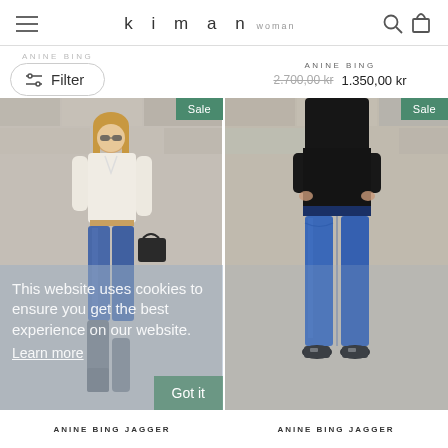kiman woman
ANINE BING
Filter
ANINE BING  2.700,00 kr  1.350,00 kr
[Figure (photo): Woman in white blouse and blue jeans with grey knee-high boots, holding a dark handbag, standing against a stone wall. Sale badge in top-right corner.]
[Figure (photo): Woman wearing black sweater and blue skinny jeans with black loafers, standing against a stone wall. Sale badge in top-right corner.]
This website uses cookies to ensure you get the best experience on our website. Learn more
Got it
ANINE BING JAGGER
ANINE BING JAGGER